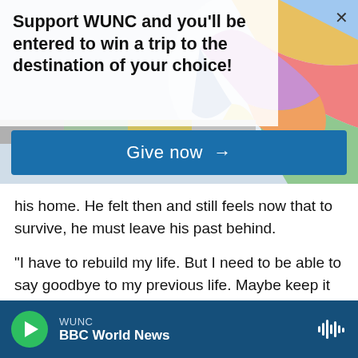[Figure (screenshot): Colorful circular graphic banner background with geometric shapes in various colors]
Support WUNC and you'll be entered to win a trip to the destination of your choice!
Give now →
his home. He felt then and still feels now that to survive, he must leave his past behind.
"I have to rebuild my life. But I need to be able to say goodbye to my previous life. Maybe keep it somewhere in my memory. But really, not to live the old life," he says, his voice wavering.
Kazimierz immigrated to the United States to work
WUNC
BBC World News